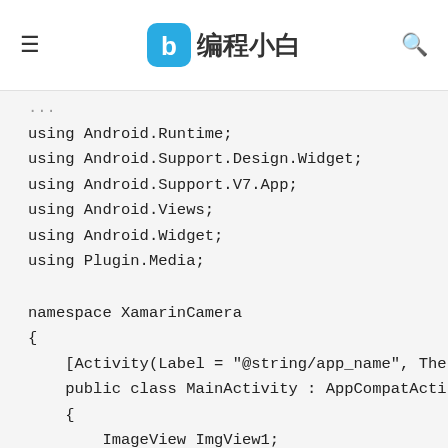编程小白
using Android.Runtime;
using Android.Support.Design.Widget;
using Android.Support.V7.App;
using Android.Views;
using Android.Widget;
using Plugin.Media;

namespace XamarinCamera
{
    [Activity(Label = "@string/app_name", The
    public class MainActivity : AppCompatActi
    {
        ImageView ImgView1;
        Button CaptureButton;
        readonly string[] permissionGroup =
        {